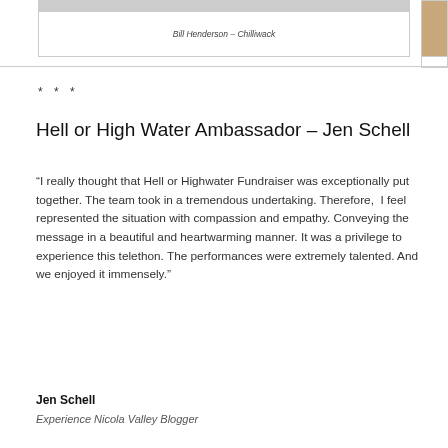[Figure (photo): Partial photo at top of page, cropped]
Bill Henderson – Chilliwack
* * *
Hell or High Water Ambassador – Jen Schell
“I really thought that Hell or Highwater Fundraiser was exceptionally put together. The team took in a tremendous undertaking. Therefore,  I feel represented the situation with compassion and empathy. Conveying the message in a beautiful and heartwarming manner. It was a privilege to experience this telethon. The performances were extremely talented. And we enjoyed it immensely.”
Jen Schell
Experience Nicola Valley Blogger